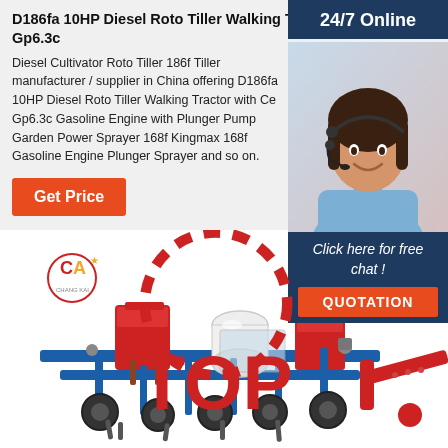D186fa 10HP Diesel Roto Tiller Walking Tractor with Ce Gp6.3c
Diesel Cultivator Roto Tiller 186f Tiller manufacturer / supplier in China offering D186fa 10HP Diesel Roto Tiller Walking Tractor with Ce Gp6.3c Gasoline Engine with Plunger Pump Garden Power Sprayer 168f Kingmax 168f Gasoline Engine Plunger Sprayer and so on.
Get Price
24/7 Online
[Figure (photo): Customer service representative (woman with headset smiling)]
Click here for free chat !
QUOTATION
[Figure (photo): D186fa 10HP Diesel Roto Tiller Walking Tractor machine with red and blue components, white cylindrical tank, shown from side angle with company logo (CA) in upper left]